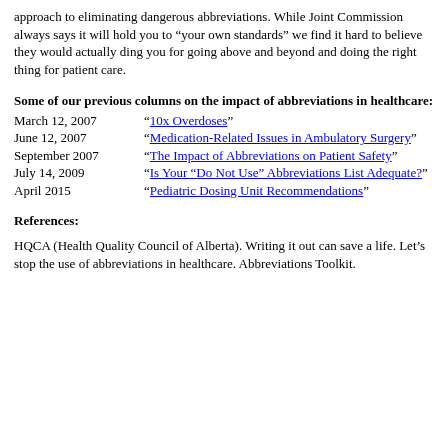approach to eliminating dangerous abbreviations. While Joint Commission always says it will hold you to “your own standards” we find it hard to believe they would actually ding you for going above and beyond and doing the right thing for patient care.
Some of our previous columns on the impact of abbreviations in healthcare:
March 12, 2007 “10x Overdoses”
June 12, 2007 “Medication-Related Issues in Ambulatory Surgery”
September 2007 “The Impact of Abbreviations on Patient Safety”
July 14, 2009 “Is Your “Do Not Use” Abbreviations List Adequate?”
April 2015 “Pediatric Dosing Unit Recommendations”
References:
HQCA (Health Quality Council of Alberta). Writing it out can save a life. Let’s stop the use of abbreviations in healthcare. Abbreviations Toolkit.